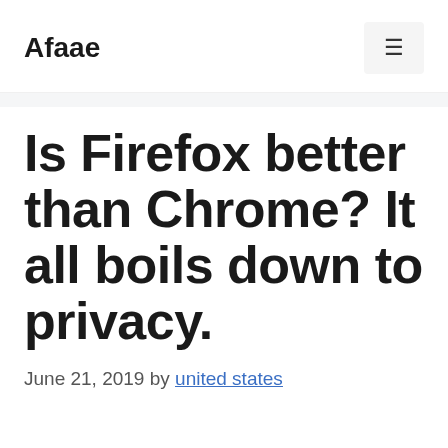Afaae
Is Firefox better than Chrome? It all boils down to privacy.
June 21, 2019 by united states